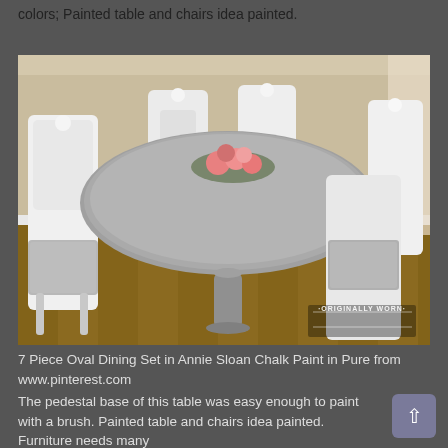colors; Painted table and chairs idea painted.
[Figure (photo): A 7 piece oval dining set painted in white with gray upholstered seats and a gray oval table top, arranged on a wood floor with floral centerpiece. Watermark reads '·ORIGINALLY WORN·']
7 Piece Oval Dining Set in Annie Sloan Chalk Paint in Pure from www.pinterest.com
The pedestal base of this table was easy enough to paint with a brush. Painted table and chairs idea painted. Furniture needs many